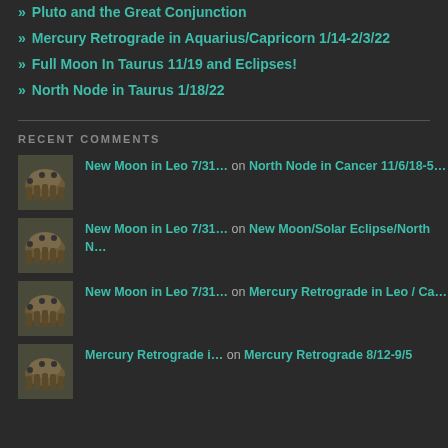» Pluto and the Great Conjunction
» Mercury Retrograde in Aquarius/Capricorn 1/14-2/3/22
» Full Moon In Taurus 11/19 and Eclipses!
» North Node in Taurus 1/18/22
RECENT COMMENTS
New Moon in Leo 7/31… on North Node in Cancer 11/6/18-5…
New Moon in Leo 7/31… on New Moon/Solar Eclipse/North N…
New Moon in Leo 7/31… on Mercury Retrograde in Leo / Ca…
Mercury Retrograde i… on Mercury Retrograde 8/12-9/5